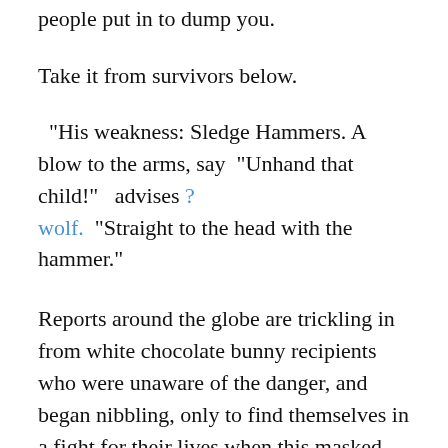people put in to dump you.
Take it from survivors below.
“His weakness: Sledge Hammers. A blow to the arms, say “Unhand that child!” advises ?wolf. “Straight to the head with the hammer.”
Reports around the globe are trickling in from white chocolate bunny recipients who were unaware of the danger, and began nibbling, only to find themselves in a fight for their lives when this masked menace materialized